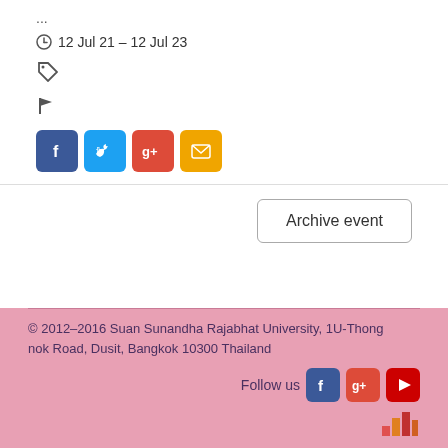...
12 Jul 21 – 12 Jul 23
[Figure (other): Tag icon]
[Figure (other): Flag icon]
[Figure (other): Social share buttons: Facebook, Twitter, Google+, Email]
Archive event
© 2012–2016 Suan Sunandha Rajabhat University, 1U-Thongnok Road, Dusit, Bangkok 10300 Thailand
Follow us [Facebook] [Google+] [YouTube]